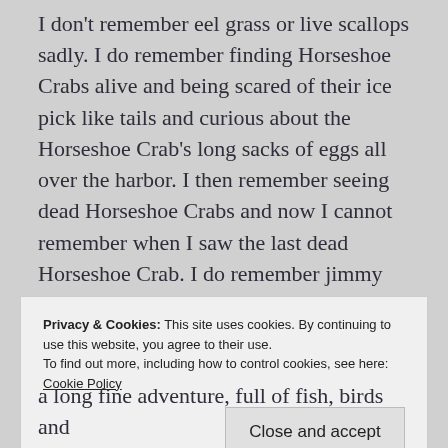I don't remember eel grass or live scallops sadly. I do remember finding Horseshoe Crabs alive and being scared of their ice pick like tails and curious about the Horseshoe Crab's long sacks of eggs all over the harbor. I then remember seeing dead Horseshoe Crabs and now I cannot remember when I saw the last dead Horseshoe Crab. I do remember jimmy dean lean, brown backed men on flat bottomed clamming skiffs working the harbor in summer, now long gone. I remember Caribbean
Privacy & Cookies: This site uses cookies. By continuing to use this website, you agree to their use.
To find out more, including how to control cookies, see here:
Cookie Policy
Close and accept
a long fine adventure, full of fish, birds and